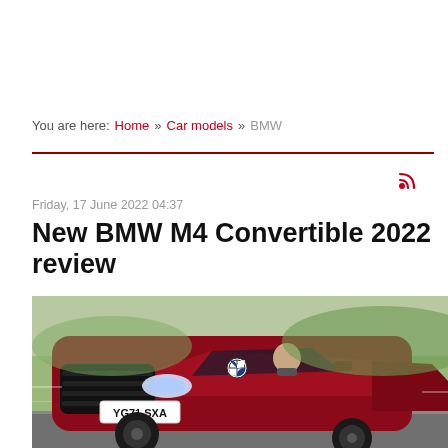You are here: Home » Car models » BMW
[Figure (photo): Red BMW M4 Convertible 2022 with roof down driving on a road, license plate YG71 SXA, green hills in background]
Friday, 17 June 2022 04:37
New BMW M4 Convertible 2022 review